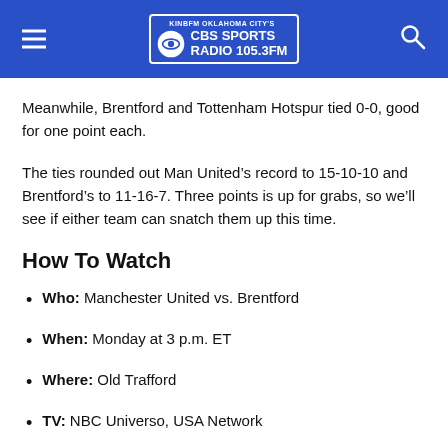KINBFM OKLAHOMA CITY'S CBS SPORTS RADIO 105.3FM
Meanwhile, Brentford and Tottenham Hotspur tied 0-0, good for one point each.
The ties rounded out Man United’s record to 15-10-10 and Brentford’s to 11-16-7. Three points is up for grabs, so we’ll see if either team can snatch them up this time.
How To Watch
Who: Manchester United vs. Brentford
When: Monday at 3 p.m. ET
Where: Old Trafford
TV: NBC Universo, USA Network